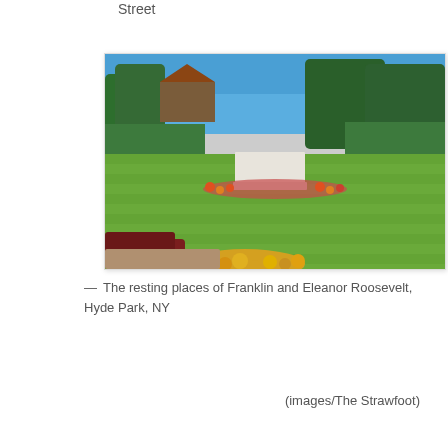Street
[Figure (photo): Outdoor garden/lawn area with a white monument or grave marker in the center, surrounded by colorful flowers. Green hedges line the sides, trees in the background, clear blue sky. This is the resting places of Franklin and Eleanor Roosevelt, Hyde Park, NY.]
— The resting places of Franklin and Eleanor Roosevelt, Hyde Park, NY
(images/The Strawfoot)